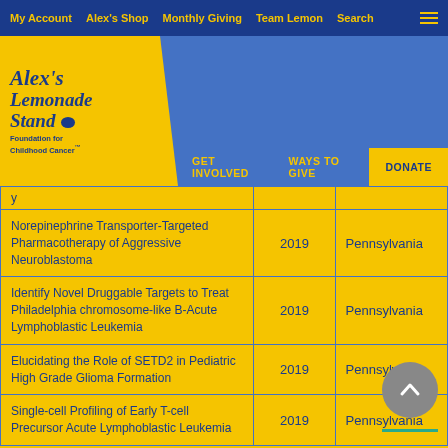My Account  Alex's Shop  Monthly Giving  Team Lemon  Search
[Figure (logo): Alex's Lemonade Stand Foundation for Childhood Cancer logo on yellow background]
GET INVOLVED  WAYS TO GIVE  DONATE
|  | Year | State |
| --- | --- | --- |
| Norepinephrine Transporter-Targeted Pharmacotherapy of Aggressive Neuroblastoma | 2019 | Pennsylvania |
| Identify Novel Druggable Targets to Treat Philadelphia chromosome-like B-Acute Lymphoblastic Leukemia | 2019 | Pennsylvania |
| Elucidating the Role of SETD2 in Pediatric High Grade Glioma Formation | 2019 | Pennsylvania |
| Single-cell Profiling of Early T-cell Precursor Acute Lymphoblastic Leukemia | 2019 | Pennsylvania |